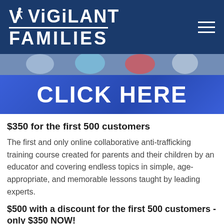[Figure (logo): Vigilant Families logo on dark blue navigation bar with hamburger menu icon]
[Figure (photo): Blue banner with children photo at top and large white bold text CLICK HERE on blue background]
$350 for the first 500 customers
The first and only online collaborative anti-trafficking training course created for parents and their children by an educator and covering endless topics in simple, age-appropriate, and memorable lessons taught by leading experts.
$500 with a discount for the first 500 customers - only $350 NOW!